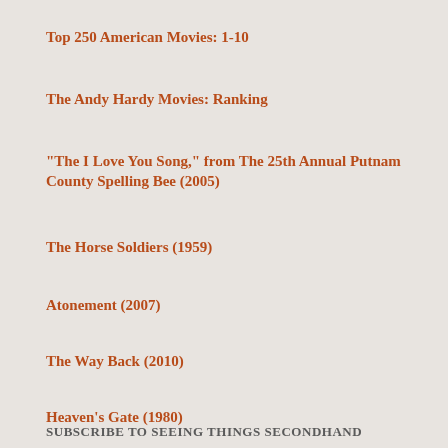Top 250 American Movies: 1-10
The Andy Hardy Movies: Ranking
"The I Love You Song," from The 25th Annual Putnam County Spelling Bee (2005)
The Horse Soldiers (1959)
Atonement (2007)
The Way Back (2010)
Heaven's Gate (1980)
SUBSCRIBE TO SEEING THINGS SECONDHAND